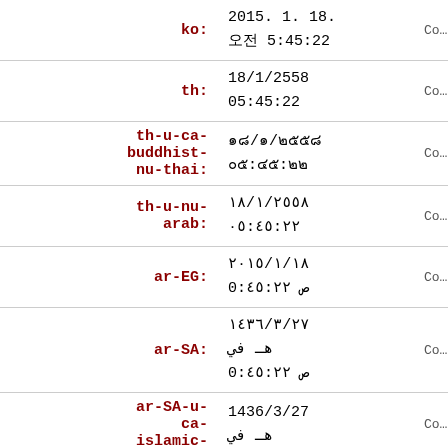| Label | Value | Copy |
| --- | --- | --- |
| ko: | 2015. 1. 18.
오전 5:45:22 | Co… |
| th: | 18/1/2558
05:45:22 | Co… |
| th-u-ca-buddhist-nu-thai: | ๑๘/๑/๒๕๕๘
๐๕:๔๕:๒๒ | Co… |
| th-u-nu-arab: | ١٨/١/٢๕٥٨
٠٥:٤٥:٢٢ | Co… |
| ar-EG: | ٢٠١٥/١/١٨
ص 0:٤٥:٢٢ | Co… |
| ar-SA: | ١٤٣٦/٣/٢٧
هـ في
ص 0:٤٥:٢٢ | Co… |
| ar-SA-u-ca-islamic- | 1436/3/27
هـ في | Co… |